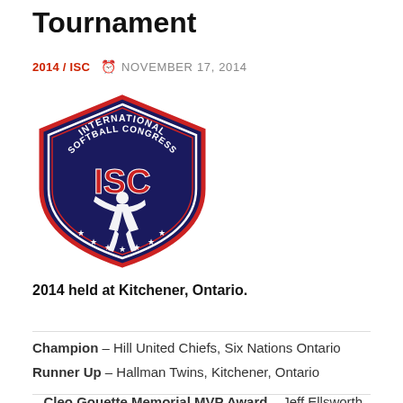Tournament
2014 / ISC   NOVEMBER 17, 2014
[Figure (logo): International Softball Congress (ISC) shield logo — navy blue shield with red and white trim, 'INTERNATIONAL SOFTBALL CONGRESS' text around top, 'ISC' in red letters in center, white silhouette of a softball pitcher, stars along bottom arc.]
2014 held at Kitchener, Ontario.
Champion – Hill United Chiefs, Six Nations Ontario
Runner Up – Hallman Twins, Kitchener, Ontario
Cleo Gouette Memorial MVP Award – Jeff Ellsworth